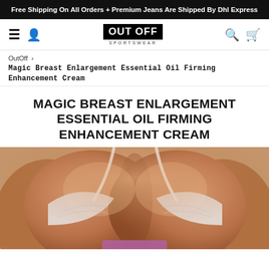Free Shipping On All Orders + Premium Jeans Are Shipped By Dhl Express
[Figure (logo): OutOff Sportswear logo with hamburger menu, user icon, search icon, and cart icon]
OutOff > Magic Breast Enlargement Essential Oil Firming Enhancement Cream
MAGIC BREAST ENLARGEMENT ESSENTIAL OIL FIRMING ENHANCEMENT CREAM
[Figure (photo): Close-up photo of a woman in a white bikini top showing chest/cleavage area, outdoors in sunlight]